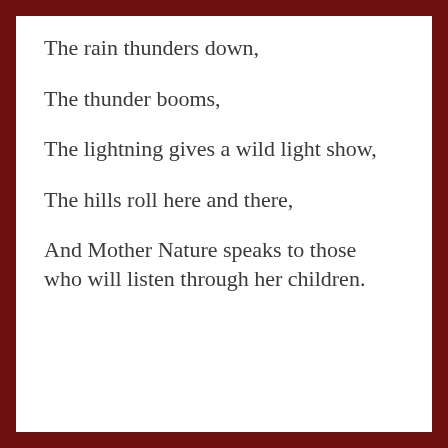The rain thunders down,
The thunder booms,
The lightning gives a wild light show,
The hills roll here and there,
And Mother Nature speaks to those who will listen through her children.